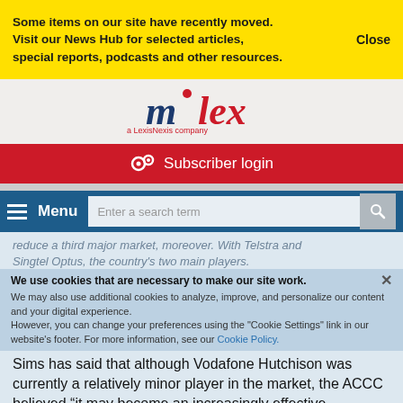Some items on our site have recently moved. Visit our News Hub for selected articles, special reports, podcasts and other resources.
Close
[Figure (logo): mlex a LexisNexis company logo]
Subscriber login
Menu
Enter a search term
We use cookies that are necessary to make our site work. We may also use additional cookies to analyze, improve, and personalize our content and your digital experience. However, you can change your preferences using the "Cookie Settings" link in our website's footer. For more information, see our Cookie Policy.
Singtel Optus, the country's two main players.
Sims has said that although Vodafone Hutchison was currently a relatively minor player in the market, the ACCC believed “it may become an increasingly effective competitor because of its high level of brand recognition and existing retail mobile customer base.”
Manage Cookie Settings